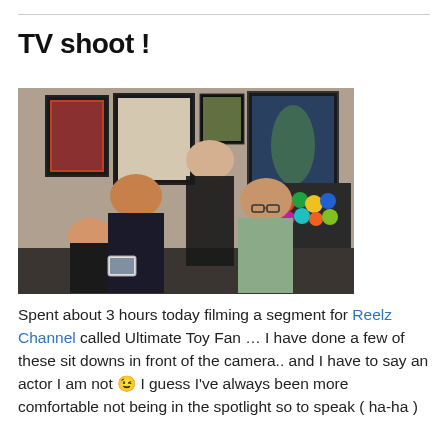TV shoot !
[Figure (photo): Group photo of four people (three adults and one child) standing in a room decorated with framed artwork and colorful toy figurines on shelves.]
Spent about 3 hours today filming a segment for Reelz Channel called Ultimate Toy Fan … I have done a few of these sit downs in front of the camera.. and I have to say an actor I am not 😉 I guess I've always been more comfortable not being in the spotlight so to speak ( ha-ha )